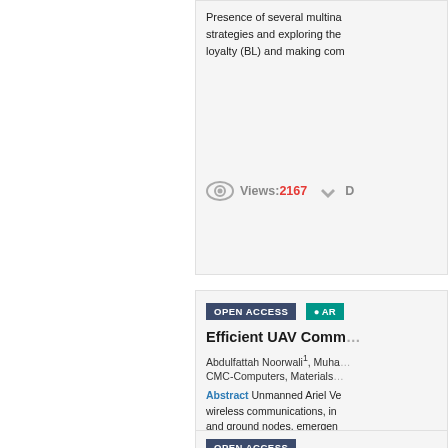Presence of several multinational strategies and exploring the loyalty (BL) and making com...
Views: 2167
OPEN ACCESS  ARTICLE
Efficient UAV Comm...
Abdulfattah Noorwali1, Muha...
CMC-Computers, Materials...
Abstract Unmanned Ariel Ve... wireless communications, in... and ground nodes, emergen... and emergency scenarios ... management. To efficiently ...
Views: 1161
OPEN ACCESS